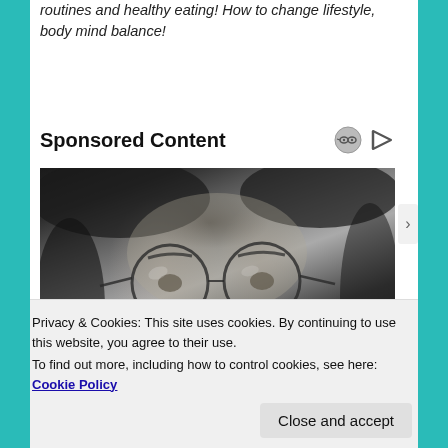routines and healthy eating! How to change lifestyle, body mind balance!
Sponsored Content
[Figure (photo): Close-up black and white portrait of a young man with long hair and round glasses, looking directly at the camera.]
Privacy & Cookies: This site uses cookies. By continuing to use this website, you agree to their use.
To find out more, including how to control cookies, see here: Cookie Policy
Close and accept